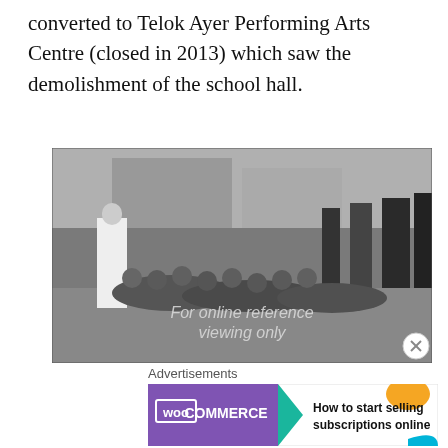converted to Telok Ayer Performing Arts Centre (closed in 2013) which saw the demolishment of the school hall.
[Figure (photo): Black and white photograph showing schoolchildren bowing in a row before officials/teachers, with one student in white vest standing nearby. Watermark reads 'For online reference viewing only'.]
Advertisements
[Figure (screenshot): WooCommerce advertisement banner: WooCommerce logo on purple background with teal arrow, text 'How to start selling subscriptions online', orange decorative shape.]